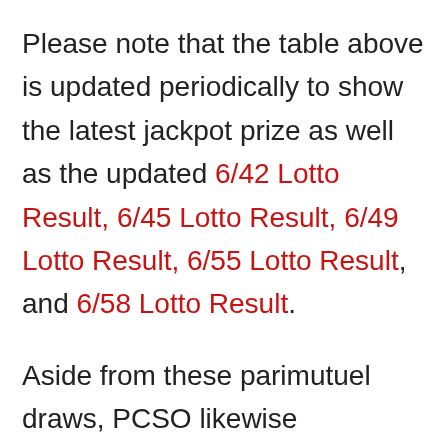Please note that the table above is updated periodically to show the latest jackpot prize as well as the updated 6/42 Lotto Result, 6/45 Lotto Result, 6/49 Lotto Result, 6/55 Lotto Result, and 6/58 Lotto Result.
Aside from these parimutuel draws, PCSO likewise announces the results of digit games such as EZ2 Result (2D Result), Swertres Result (3D Result)